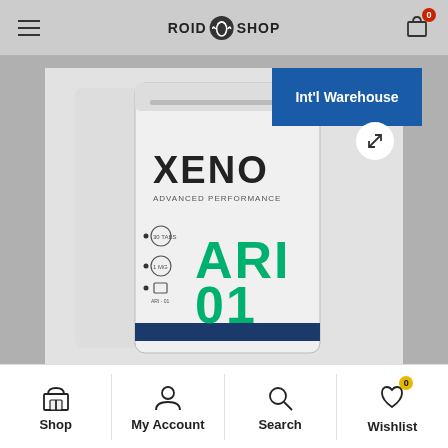ROID SHOP
[Figure (photo): Product photo of XENO Advanced Performance ARI 01 supplement pouch bag, white/silver with green text, shown against light background. Overlaid with 'Int'l Warehouse' blue badge in top right corner and expand/resize arrow icon.]
Shop | My Account | Search | Wishlist